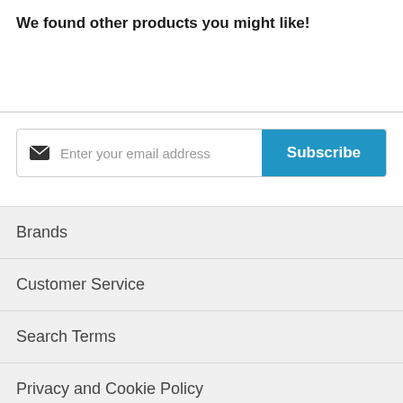We found other products you might like!
[Figure (screenshot): Email subscription input field with envelope icon and placeholder 'Enter your email address', next to a blue 'Subscribe' button]
Brands
Customer Service
Search Terms
Privacy and Cookie Policy
Advanced Search
Orders and Returns